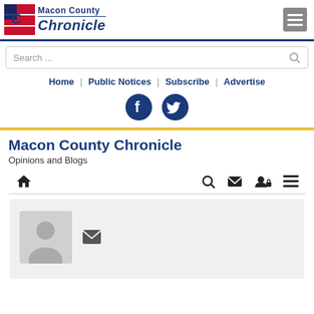Macon County Chronicle
Search ...
Home | Public Notices | Subscribe | Advertise
[Figure (other): Facebook and Twitter social media icons]
Macon County Chronicle
Opinions and Blogs
[Figure (other): Navigation icon toolbar with home, search, mail, user, and menu icons]
[Figure (other): User profile placeholder avatar with mail icon]